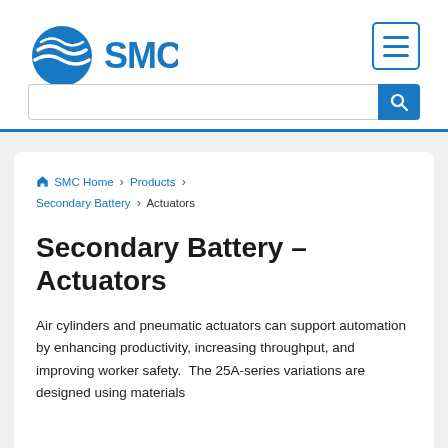[Figure (logo): SMC Corporation logo with blue globe icon and SMC text in blue]
[Figure (other): Hamburger menu button with three horizontal blue lines, bordered in blue]
[Figure (other): Search bar with text input field and blue search button with magnifying glass icon]
SMC Home › Products › Secondary Battery › Actuators
Secondary Battery – Actuators
Air cylinders and pneumatic actuators can support automation by enhancing productivity, increasing throughput, and improving worker safety.  The 25A-series variations are designed using materials